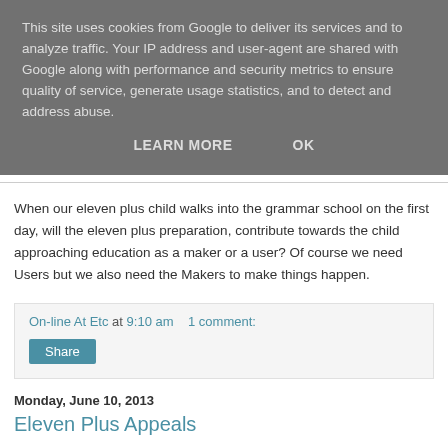This site uses cookies from Google to deliver its services and to analyze traffic. Your IP address and user-agent are shared with Google along with performance and security metrics to ensure quality of service, generate usage statistics, and to detect and address abuse.
LEARN MORE    OK
When our eleven plus child walks into the grammar school on the first day, will the eleven plus preparation, contribute towards the child approaching education as a maker or a user? Of course we need Users but we also need the Makers to make things happen.
On-line At Etc at 9:10 am    1 comment:
Share
Monday, June 10, 2013
Eleven Plus Appeals